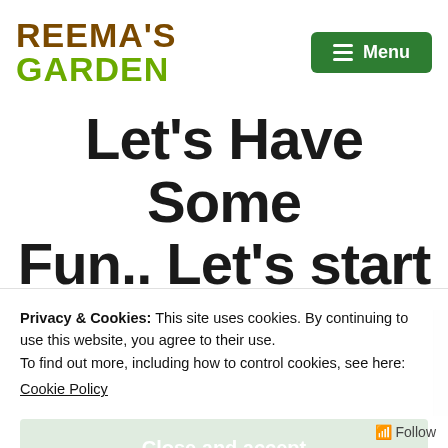REEMA'S GARDEN  ≡ Menu
Let's Have Some Fun.. Let's start
Privacy & Cookies: This site uses cookies. By continuing to use this website, you agree to their use.
To find out more, including how to control cookies, see here:
Cookie Policy
Close and accept